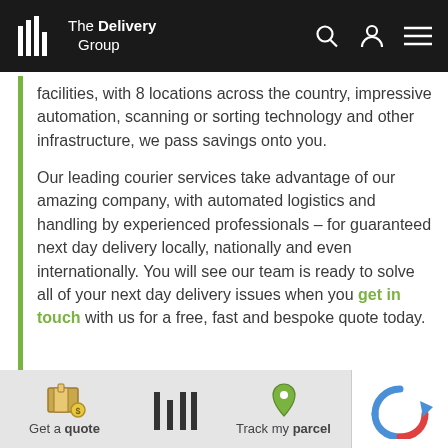The Delivery Group
facilities, with 8 locations across the country, impressive automation, scanning or sorting technology and other infrastructure, we pass savings onto you.
Our leading courier services take advantage of our amazing company, with automated logistics and handling by experienced professionals – for guaranteed next day delivery locally, nationally and even internationally. You will see our team is ready to solve all of your next day delivery issues when you get in touch with us for a free, fast and bespoke quote today.
Get a quote | Track my parcel